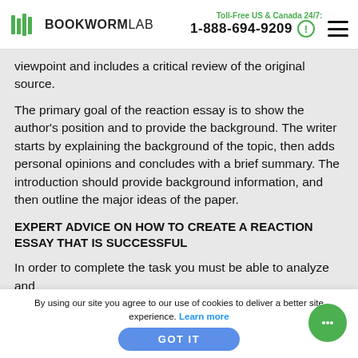BOOKWORMLAB | Toll-Free US & Canada 24/7: 1-888-694-9209
viewpoint and includes a critical review of the original source.
The primary goal of the reaction essay is to show the author's position and to provide the background. The writer starts by explaining the background of the topic, then adds personal opinions and concludes with a brief summary. The introduction should provide background information, and then outline the major ideas of the paper.
EXPERT ADVICE ON HOW TO CREATE A REACTION ESSAY THAT IS SUCCESSFUL
In order to complete the task you must be able to analyze and
By using our site you agree to our use of cookies to deliver a better site experience. Learn more